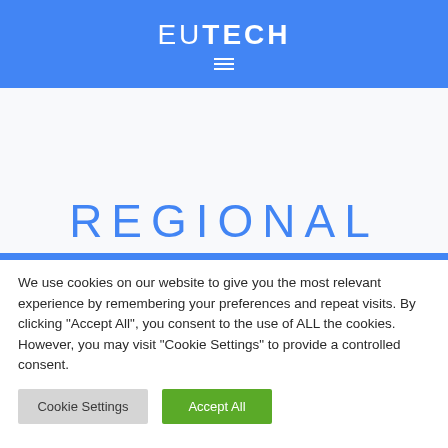EUTECH
REGIONAL
We use cookies on our website to give you the most relevant experience by remembering your preferences and repeat visits. By clicking "Accept All", you consent to the use of ALL the cookies. However, you may visit "Cookie Settings" to provide a controlled consent.
Cookie Settings
Accept All